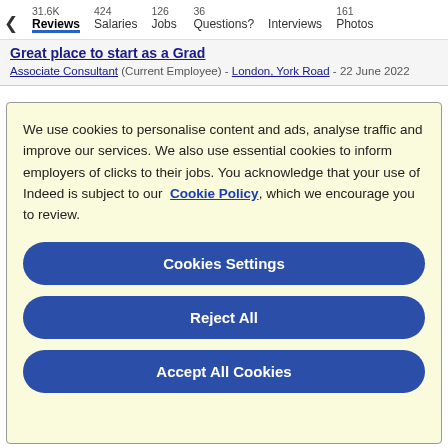< 31.6K Reviews | 424 Salaries | 126 Jobs | 36 Questions? | Interviews | 161 Photos
Great place to start as a Grad
Associate Consultant (Current Employee) - London, York Road - 22 June 2022
We use cookies to personalise content and ads, analyse traffic and improve our services. We also use essential cookies to inform employers of clicks to their jobs. You acknowledge that your use of Indeed is subject to our Cookie Policy, which we encourage you to review.
Cookies Settings
Reject All
Accept All Cookies